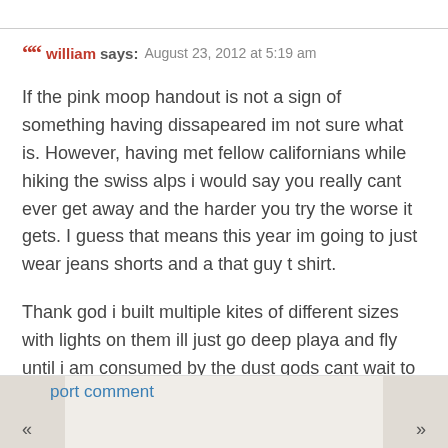william says: August 23, 2012 at 5:19 am
If the pink moop handout is not a sign of something having dissapeared im not sure what is. However, having met fellow californians while hiking the swiss alps i would say you really cant ever get away and the harder you try the worse it gets. I guess that means this year im going to just wear jeans shorts and a that guy t shirt.
Thank god i built multiple kites of different sizes with lights on them ill just go deep playa and fly until i am consumed by the dust gods cant wait to see you there pink sucks im sorry.
port comment